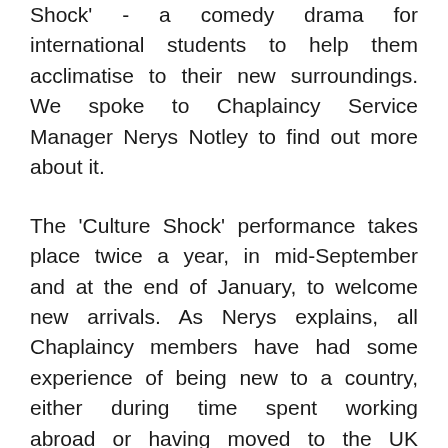Shock' - a comedy drama for international students to help them acclimatise to their new surroundings. We spoke to Chaplaincy Service Manager Nerys Notley to find out more about it.
The 'Culture Shock' performance takes place twice a year, in mid-September and at the end of January, to welcome new arrivals. As Nerys explains, all Chaplaincy members have had some experience of being new to a country, either during time spent working abroad or having moved to the UK themselves. As a result, they can sympathise with the feeling of being out of place, struggling with a new language, culture differences,